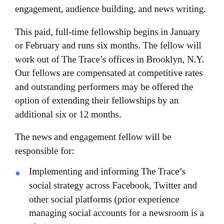engagement, audience building, and news writing.
This paid, full-time fellowship begins in January or February and runs six months. The fellow will work out of The Trace’s offices in Brooklyn, N.Y. Our fellows are compensated at competitive rates and outstanding performers may be offered the option of extending their fellowships by an additional six or 12 months.
The news and engagement fellow will be responsible for:
Implementing and informing The Trace’s social strategy across Facebook, Twitter and other social platforms (prior experience managing social accounts for a newsroom is a plus)
Building...